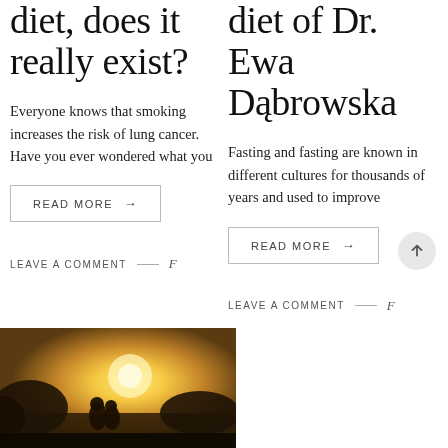diet, does it really exist?
Everyone knows that smoking increases the risk of lung cancer. Have you ever wondered what you
READ MORE →
LEAVE A COMMENT — f
diet of Dr. Ewa Dąbrowska
Fasting and fasting are known in different cultures for thousands of years and used to improve
READ MORE →
LEAVE A COMMENT — f
[Figure (photo): Warm backlit photo of a couple or person outdoors at sunset/golden hour, silhouetted against bright warm light]